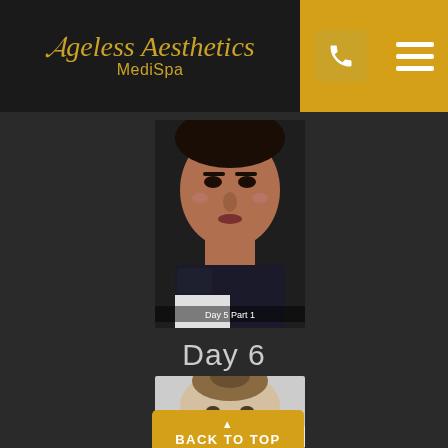Ageless Aesthetics MediSpa
[Figure (photo): Close-up selfie of a woman lying down, with text overlay 'Day 5  Part 1' at the bottom of the image]
Day 6
[Figure (photo): Partial photo of a person's face for Day 6 content, with a yellow 'BACK TO TOP' button overlay]
▲ BACK TO TOP